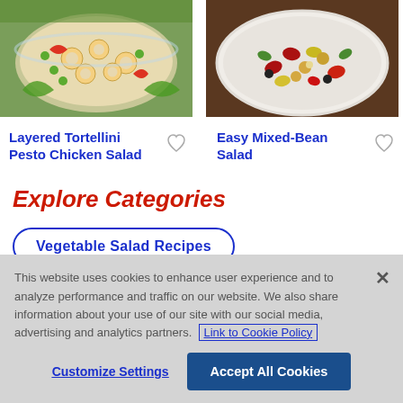[Figure (photo): Photo of layered tortellini pesto chicken salad in a bowl with green peas and pasta]
[Figure (photo): Photo of easy mixed-bean salad with colorful beans on a white plate]
Layered Tortellini Pesto Chicken Salad
Easy Mixed-Bean Salad
Explore Categories
Vegetable Salad Recipes
This website uses cookies to enhance user experience and to analyze performance and traffic on our website. We also share information about your use of our site with our social media, advertising and analytics partners. Link to Cookie Policy
Customize Settings
Accept All Cookies